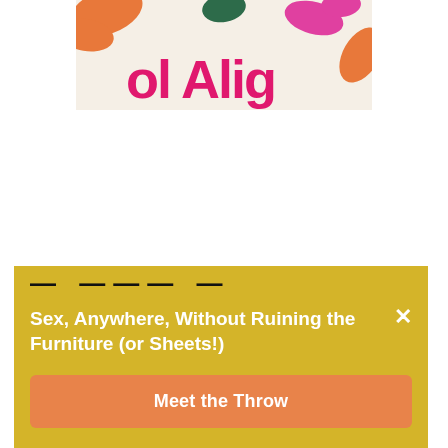[Figure (illustration): Partial view of a colorful illustrated book cover or graphic with floral/leaf shapes in orange, dark green, and pink on a cream/beige background, with partial pink text visible reading 'ol Alig' (part of a larger word/title).]
— — — —
Sex, Anywhere, Without Ruining the Furniture (or Sheets!)
Meet the Throw